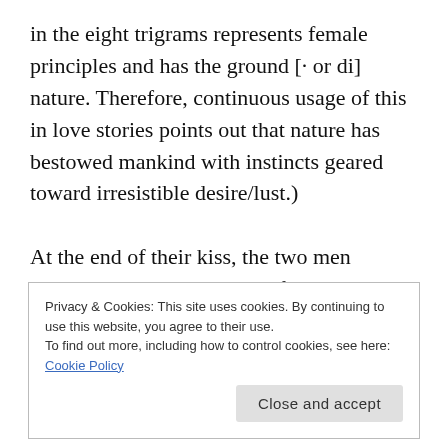in the eight trigrams represents female principles and has the ground [· or di] nature. Therefore, continuous usage of this in love stories points out that nature has bestowed mankind with instincts geared toward irresistible desire/lust.)
At the end of their kiss, the two men pressed against each other's forehead. It took a long time before they could open their eyes slowly. They looked face to face afterwards and could not help but smile at each
Privacy & Cookies: This site uses cookies. By continuing to use this website, you agree to their use.
To find out more, including how to control cookies, see here: Cookie Policy
Close and accept
warm feeling grew with each passing day. Such kiss